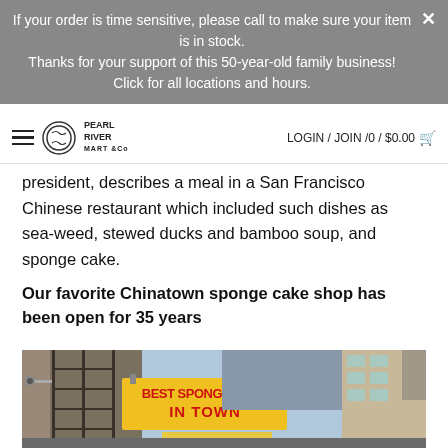If your order is time sensitive, please call to make sure your item is in stock. Thanks for your support of this 50-year-old family business! Click for all locations and hours.
LOGIN / JOIN /0 / $0.00
president, describes a meal in a San Francisco Chinese restaurant which included such dishes as sea-weed, stewed ducks and bamboo soup, and sponge cake.
Our favorite Chinatown sponge cake shop has been open for 35 years
[Figure (photo): Street-level photo of a Chinatown storefront with a yellow sign reading 'BEST SPONGE CAKE IN TOWN' in red letters, fire escape ladders visible on the brick building, a security camera on the wall, and a modern glass building in the background on the right.]